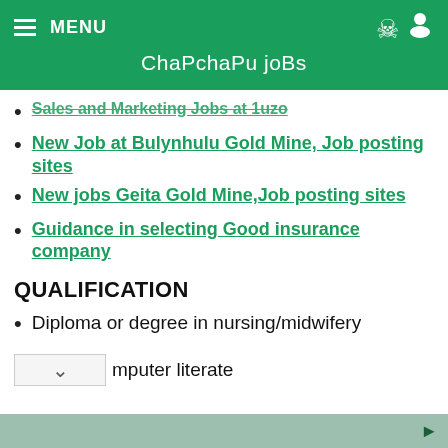MENU  ChaPchaPu joBs
Sales and Marketing Jobs at 1uzo
New Job at Bulynhulu Gold Mine, Job posting sites
New jobs Geita Gold Mine,Job posting sites
Guidance in selecting Good insurance company
QUALIFICATION
Diploma or degree in nursing/midwifery
Minimum of 3years working experience
mputer literate